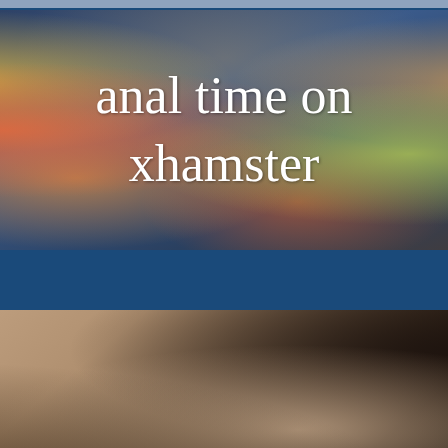[Figure (screenshot): Video thumbnail showing bokeh colored lights on dark blue background with white text overlay reading 'anal time on xhamster']
anal time
Duration: 1:09
28 August
[Figure (photo): Close-up photograph showing skin and dark hair, partially visible second video card]